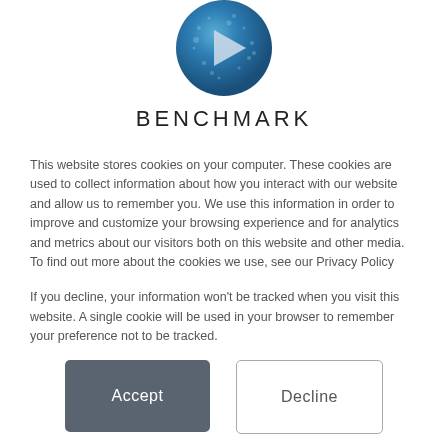[Figure (logo): Blue circular logo with a white/grey play button triangle in the center, resembling a globe texture]
BENCHMARK
This website stores cookies on your computer. These cookies are used to collect information about how you interact with our website and allow us to remember you. We use this information in order to improve and customize your browsing experience and for analytics and metrics about our visitors both on this website and other media. To find out more about the cookies we use, see our Privacy Policy
If you decline, your information won't be tracked when you visit this website. A single cookie will be used in your browser to remember your preference not to be tracked.
Accept
Decline